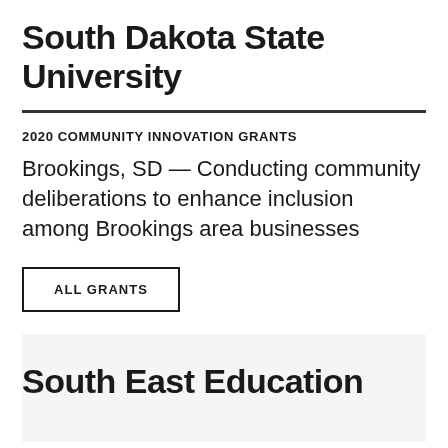South Dakota State University
2020 COMMUNITY INNOVATION GRANTS
Brookings, SD — Conducting community deliberations to enhance inclusion among Brookings area businesses
ALL GRANTS
South East Education